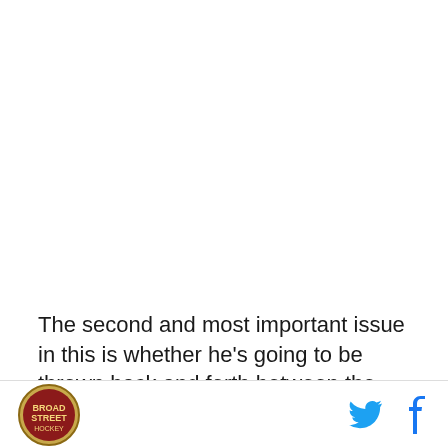[Figure (other): Large image placeholder area (white/empty image region at top of page)]
The second and most important issue in this is whether he's going to be thrown back and forth between the AHL and NHL. He's not going to do you much good if he keeps getting shipped that way. Worry not. From
Site logo | Twitter icon | Facebook icon